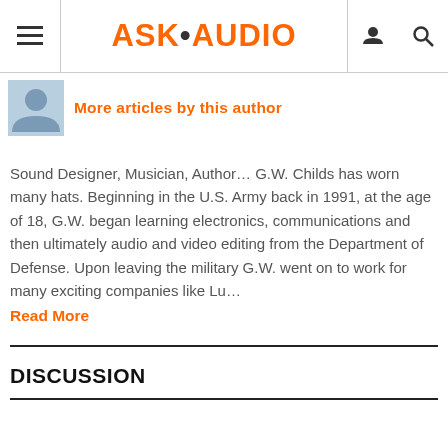ASK·AUDIO
More articles by this author
Sound Designer, Musician, Author… G.W. Childs has worn many hats. Beginning in the U.S. Army back in 1991, at the age of 18, G.W. began learning electronics, communications and then ultimately audio and video editing from the Department of Defense. Upon leaving the military G.W. went on to work for many exciting companies like Lu… Read More
DISCUSSION